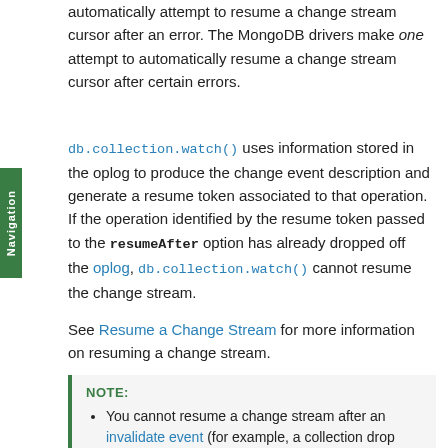automatically attempt to resume a change stream cursor after an error. The MongoDB drivers make one attempt to automatically resume a change stream cursor after certain errors.
db.collection.watch() uses information stored in the oplog to produce the change event description and generate a resume token associated to that operation. If the operation identified by the resume token passed to the resumeAfter option has already dropped off the oplog, db.collection.watch() cannot resume the change stream.
See Resume a Change Stream for more information on resuming a change stream.
NOTE:
• You cannot resume a change stream after an invalidate event (for example, a collection drop